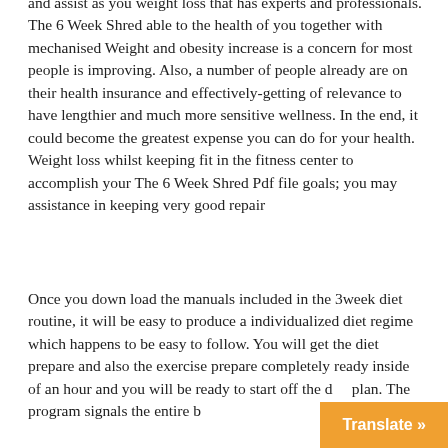and assist as you weight loss that has experts and professionals. The 6 Week Shred able to the health of you together with mechanised Weight and obesity increase is a concern for most people is improving. Also, a number of people already are on their health insurance and effectively-getting of relevance to have lengthier and much more sensitive wellness. In the end, it could become the greatest expense you can do for your health. Weight loss whilst keeping fit in the fitness center to accomplish your The 6 Week Shred Pdf file goals; you may assistance in keeping very good repair
Once you down load the manuals included in the 3week diet routine, it will be easy to produce a individualized diet regime which happens to be easy to follow. You will get the diet prepare and also the exercise prepare completely ready inside of an hour and you will be ready to start off the diet plan. The program signals the entire b